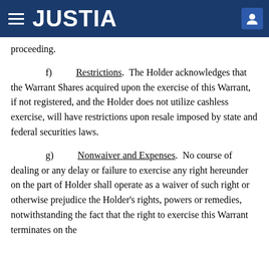JUSTIA
proceeding.
f)   Restrictions.  The Holder acknowledges that the Warrant Shares acquired upon the exercise of this Warrant, if not registered, and the Holder does not utilize cashless exercise, will have restrictions upon resale imposed by state and federal securities laws.
g)   Nonwaiver and Expenses.  No course of dealing or any delay or failure to exercise any right hereunder on the part of Holder shall operate as a waiver of such right or otherwise prejudice the Holder's rights, powers or remedies, notwithstanding the fact that the right to exercise this Warrant terminates on the